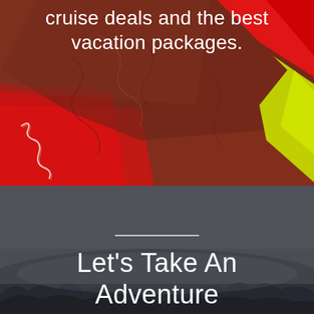[Figure (illustration): Colorful abstract collage with brown leather texture, red shapes, yellow triangular accent, and white map outline lines on left side]
cruise deals and the best vacation packages.
[Figure (photo): Dark moody landscape with grey sky, mist, and shadowy treeline at bottom]
——
Let's Take An Adventure